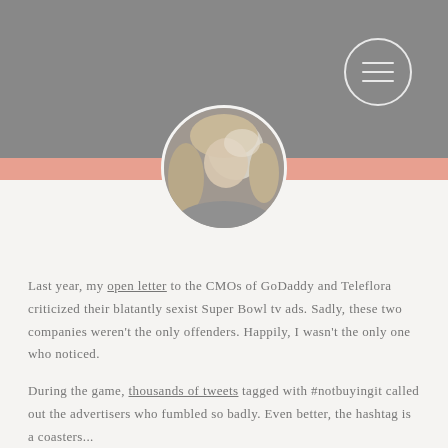[Figure (photo): Profile photo of a woman with light hair in a circular avatar, displayed on a gray header background with a salmon/coral horizontal bar]
Last year, my open letter to the CMOs of GoDaddy and Teleflora criticized their blatantly sexist Super Bowl tv ads. Sadly, these two companies weren't the only offenders. Happily, I wasn't the only one who noticed.
During the game, thousands of tweets tagged with #notbuyingit called out the advertisers who fumbled so badly. Even better, the hashtag is a coasters...